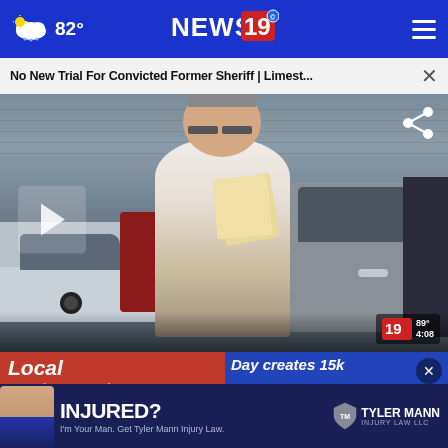82° NEWS 19
No New Trial For Convicted Former Sheriff | Limest...
[Figure (screenshot): Video thumbnail showing a heavyset middle-aged man in a white polo shirt holding papers near a silver SUV in a parking lot. A play button overlay is visible on the left, and a share icon is visible in the top right. News 19 watermark with 89° 4:08 is in the bottom right corner.]
Local restaurant fra hos Tuesday job
Day creates 15k
INJURED? Tyler Mann Injury Law LLC — I'm Your Man. Get Tyler Mann Injury Law.